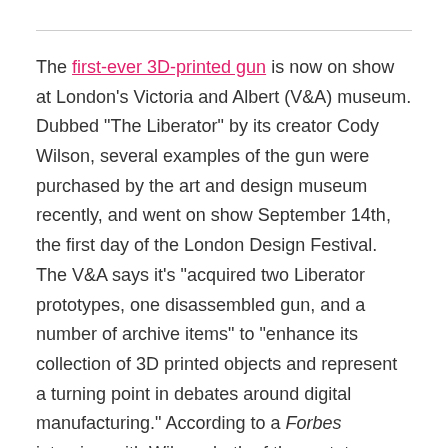The first-ever 3D-printed gun is now on show at London's Victoria and Albert (V&A) museum. Dubbed "The Liberator" by its creator Cody Wilson, several examples of the gun were purchased by the art and design museum recently, and went on show September 14th, the first day of the London Design Festival. The V&A says it's "acquired two Liberator prototypes, one disassembled gun, and a number of archive items" to "enhance its collection of 3D printed objects and represent a turning point in debates around digital manufacturing." According to a Forbes interview with Wilson, both of the prototypes were fired, and one had its right side blown off in a failed test.